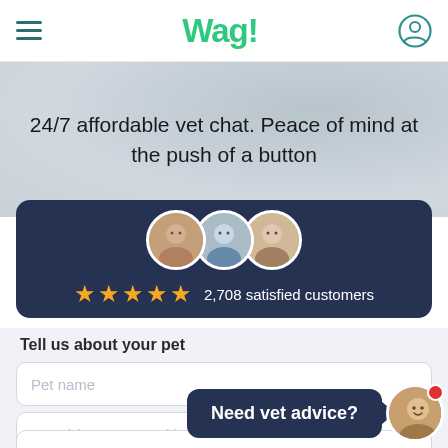Wag!
24/7 affordable vet chat. Peace of mind at the push of a button
[Figure (infographic): Three circular vet avatars overlapping, five gold stars, text '2,708 satisfied customers' on dark navy card]
Tell us about your pet
Pet name
Breed (type to search)
Age
[Figure (screenshot): Tooltip bubble saying 'Need vet advice?' with chat avatar of a woman and a red notification dot]